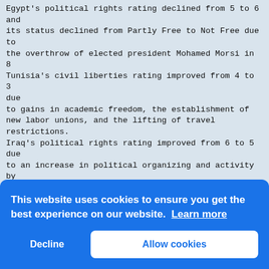Egypt's political rights rating declined from 5 to 6 and its status declined from Partly Free to Not Free due to the overthrow of elected president Mohamed Morsi in 8 Tunisia's civil liberties rating improved from 4 to 3 due to gains in academic freedom, the establishment of new labor unions, and the lifting of travel restrictions. Iraq's political rights rating improved from 6 to 5 due to an increase in political organizing and activity by opposition parties during provincial elections held in April and June. Freedom House Lebanon received a downward trend arrow due to political paralysis stemming from the Syrian conflict that prevented the election of a new president prior to the 2014 Syria worsened the and harsh and unchecked violence against women, including the use of rape as a weapon of war.
[Figure (other): Cookie consent overlay with blue background. Message: 'This website uses cookies to ensure you get the best experience on our website. Learn more'. Two buttons: 'Decline' (text only) and 'Allow cookies' (white rounded button).]